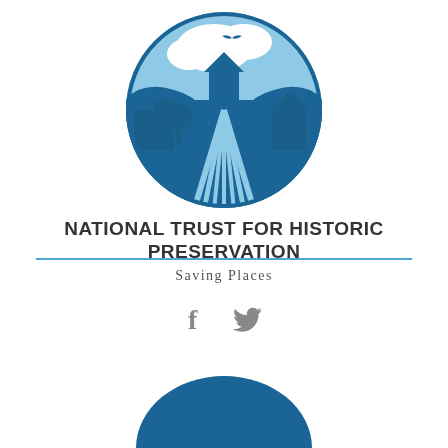[Figure (logo): National Trust for Historic Preservation circular logo — blue circle with stylized landscape showing buildings, trees, roads and a bird in flight against a light blue sky with clouds]
NATIONAL TRUST FOR HISTORIC PRESERVATION
Saving Places
[Figure (logo): Social media icons: Facebook (f) and Twitter (bird) in gray]
[Figure (logo): Partial blue dome/arch shape at bottom of page — appears to be the top of another logo or graphic element]